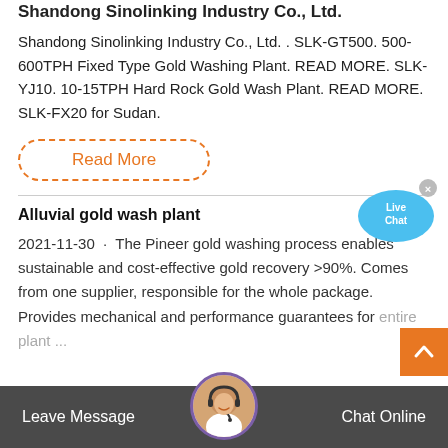Shandong Sinolinking Industry Co., Ltd.
Shandong Sinolinking Industry Co., Ltd. . SLK-GT500. 500-600TPH Fixed Type Gold Washing Plant. READ MORE. SLK-YJ10. 10-15TPH Hard Rock Gold Wash Plant. READ MORE. SLK-FX20 for Sudan.
[Figure (other): Read More button with dashed orange border]
[Figure (other): Live Chat speech bubble icon in blue with x close button]
Alluvial gold wash plant
2021-11-30 · The Pineer gold washing process enables sustainable and cost-effective gold recovery >90%. Comes from one supplier, responsible for the whole package. Provides mechanical and performance guarantees for entire plant ...
Leave Message   Chat Online